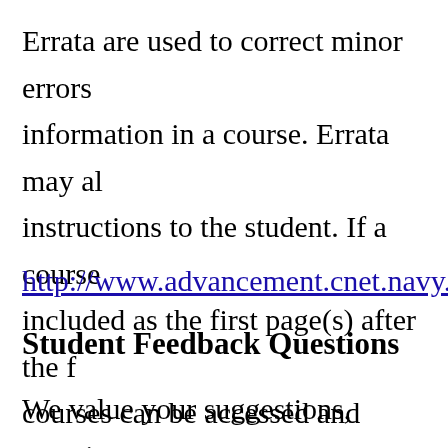Errata are used to correct minor errors information in a course. Errata may al instructions to the student. If a course included as the first page(s) after the f courses can be accessed and viewed/d
http://www.advancement.cnet.navy.mi
Student Feedback Questions
We value your suggestions, questions,